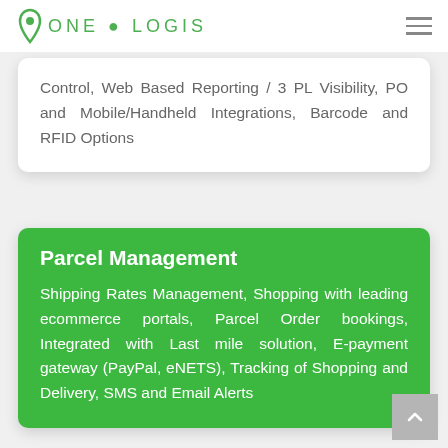ONE LOGIS
Control, Web Based Reporting / 3 PL Visibility, PO and Mobile/Handheld Integrations, Barcode and RFID Options
Parcel Management
Shipping Rates Management, Shopping with leading ecommerce portals, Parcel Order bookings, Integrated with Last mile solution, E-payment gateway (PayPal, eNETS), Tracking of Shopping and Delivery, SMS and Email Alerts